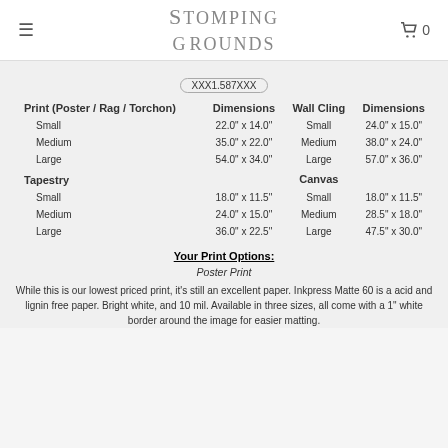Stomping Grounds — 0
XXX1.587XXX
| Print (Poster / Rag / Torchon) | Dimensions | Wall Cling | Dimensions |
| --- | --- | --- | --- |
| Small | 22.0" x 14.0" | Small | 24.0" x 15.0" |
| Medium | 35.0" x 22.0" | Medium | 38.0" x 24.0" |
| Large | 54.0" x 34.0" | Large | 57.0" x 36.0" |
| Tapestry |  | Canvas |  |
| Small | 18.0" x 11.5" | Small | 18.0" x 11.5" |
| Medium | 24.0" x 15.0" | Medium | 28.5" x 18.0" |
| Large | 36.0" x 22.5" | Large | 47.5" x 30.0" |
Your Print Options:
Poster Print
While this is our lowest priced print, it's still an excellent paper. Inkpress Matte 60 is a acid and lignin free paper. Bright white, and 10 mil. Available in three sizes, all come with a 1" white border around the image for easier matting.